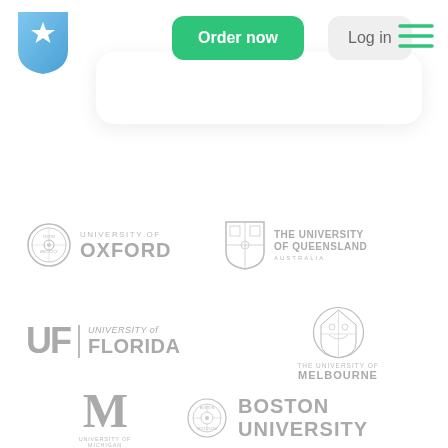[Figure (logo): Blue shield with white star — website logo/brand badge]
[Figure (screenshot): Navigation bar with 'Order now' green button and 'Log in' gray button, and hamburger menu icon on the right]
[Figure (logo): University of Oxford logo — circular seal and OXFORD wordmark in gray]
[Figure (logo): The University of Queensland Australia logo — shield crest and wordmark in gray]
[Figure (logo): University of Florida logo — UF monogram with FLORIDA wordmark in gray]
[Figure (logo): The University of Melbourne logo — crest and wordmark in gray]
[Figure (logo): University of Michigan logo — large M monogram with UNIVERSITY OF MICHIGAN text in gray]
[Figure (logo): Boston University logo — circular seal and BOSTON UNIVERSITY wordmark in gray]